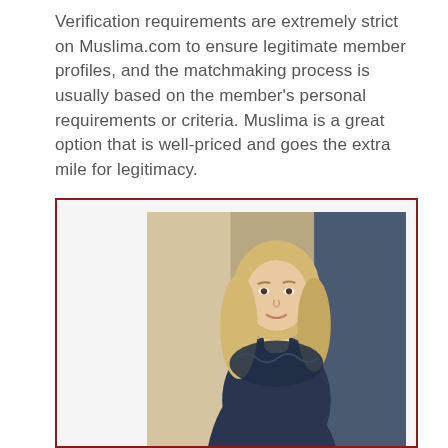Verification requirements are extremely strict on Muslima.com to ensure legitimate member profiles, and the matchmaking process is usually based on the member's personal requirements or criteria. Muslima is a great option that is well-priced and goes the extra mile for legitimacy.
[Figure (photo): A blonde woman wearing a navy blue lace-trim top and black pants, leaning against a wooden railing outdoors. The photo is framed with a dark red border.]